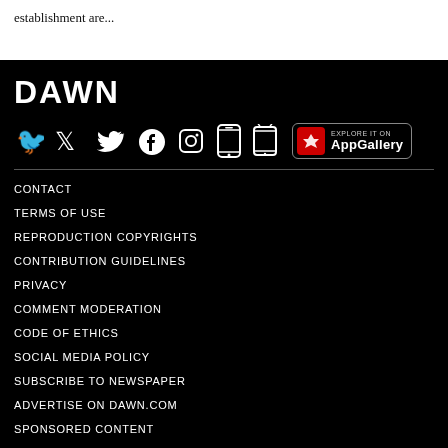establishment are...
[Figure (logo): DAWN newspaper logo and social media icons with app store badges on black background]
CONTACT
TERMS OF USE
REPRODUCTION COPYRIGHTS
CONTRIBUTION GUIDELINES
PRIVACY
COMMENT MODERATION
CODE OF ETHICS
SOCIAL MEDIA POLICY
SUBSCRIBE TO NEWSPAPER
ADVERTISE ON DAWN.COM
SPONSORED CONTENT
CLASSIFIEDS
OBITUARIES
PRAYER TIMINGS